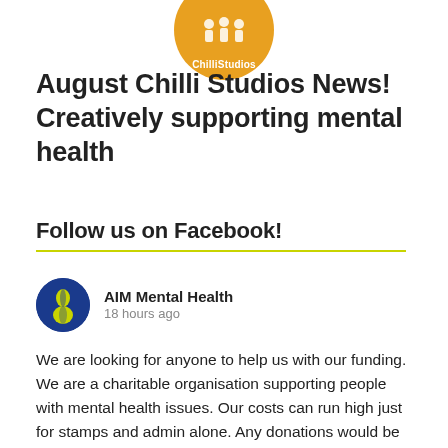[Figure (logo): ChilliStudios circular orange logo with white text and figure silhouettes]
August Chilli Studios News! Creatively supporting mental health
Follow us on Facebook!
[Figure (illustration): AIM Mental Health circular profile avatar with blue background and yellow figure silhouette]
AIM Mental Health
18 hours ago
We are looking for anyone to help us with our funding. We are a charitable organisation supporting people with mental health issues. Our costs can run high just for stamps and admin alone. Any donations would be gladly appreciated.
You can find our website donation page